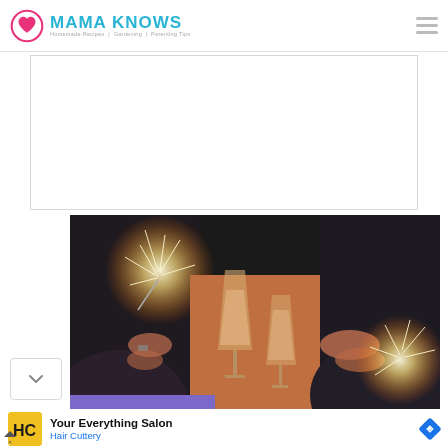Mama Knows — Homemade Recipes | Gardening | Parenting Tips
[Figure (photo): Women in black dresses holding champagne glasses and sparklers at a celebration/party]
Your Everything Salon
Hair Cuttery